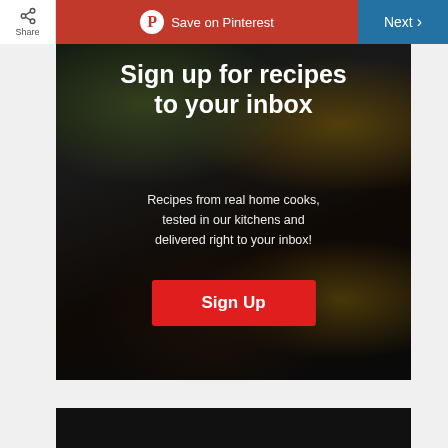Share | Save on Pinterest | Next
Sign up for recipes to your inbox
Recipes from real home cooks, tested in our kitchens and delivered right to your inbox!
Sign Up
[Figure (photo): Dark food photography background showing a roasted bird, a bowl of cranberry sauce, and a salad]